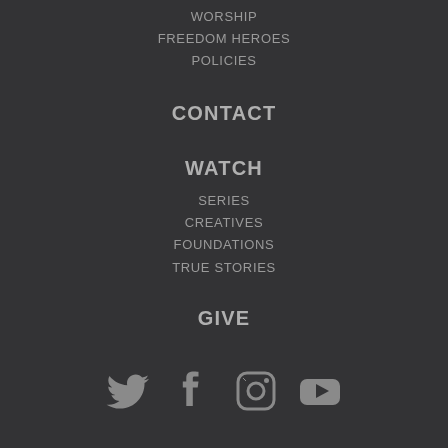WORSHIP
FREEDOM HEROES
POLICIES
CONTACT
WATCH
SERIES
CREATIVES
FOUNDATIONS
TRUE STORIES
GIVE
[Figure (infographic): Social media icons: Twitter, Facebook, Instagram, YouTube]